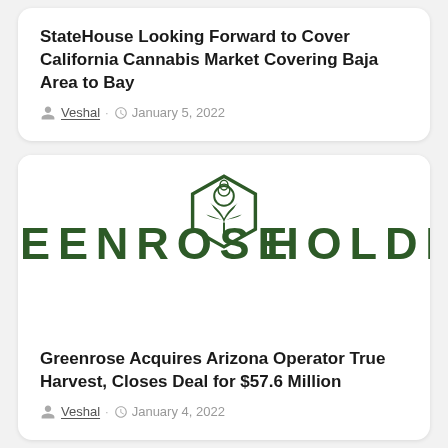StateHouse Looking Forward to Cover California Cannabis Market Covering Baja Area to Bay
Veshal · January 5, 2022
[Figure (logo): Greenrose Holding Company logo featuring a hexagonal badge with a cannabis leaf and rose design, with text 'EENROSE HOLDING COMP' visible]
Greenrose Acquires Arizona Operator True Harvest, Closes Deal for $57.6 Million
Veshal · January 4, 2022
[Figure (photo): Partial photo of a person's face, cropped at the bottom of the page]